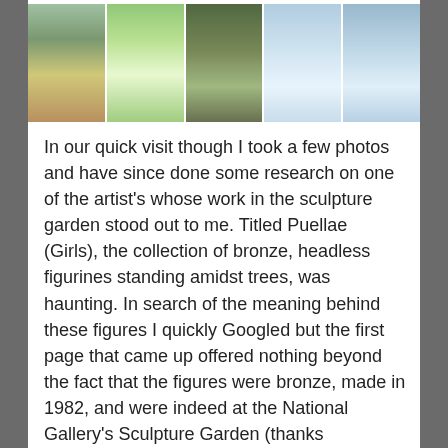[Figure (photo): A horizontal strip of five outdoor photos showing a sculpture garden and park scenes: a walkway with trees, a pyramid-shaped sculpture on grass, a dark bronze figurine sculpture among trees, a reflective pond or pool area, and a water fountain feature.]
In our quick visit though I took a few photos and have since done some research on one of the artist's whose work in the sculpture garden stood out to me. Titled Puellae (Girls), the collection of bronze, headless figurines standing amidst trees, was haunting. In search of the meaning behind these figures I quickly Googled but the first page that came up offered nothing beyond the fact that the figures were bronze, made in 1982, and were indeed at the National Gallery's Sculpture Garden (thanks Google/Wikipedia). A friendly security guard passed by just as I declared my internet search of no use and told us that the statues were inspired by a story the artist had heard during World War II of a transport of girls from Poland to Germany who all died from exposure to the cold in the cattle cars used to move them.